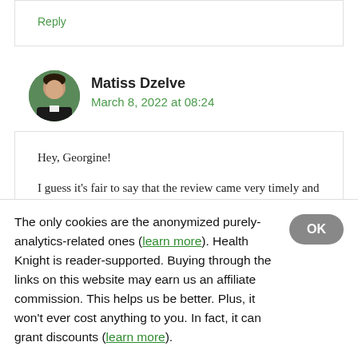Reply
Matiss Dzelve
March 8, 2022 at 08:24
Hey, Georgine!

I guess it's fair to say that the review came very timely and not too late. I am happy to
The only cookies are the anonymized purely-analytics-related ones (learn more). Health Knight is reader-supported. Buying through the links on this website may earn us an affiliate commission. This helps us be better. Plus, it won't ever cost anything to you. In fact, it can grant discounts (learn more).